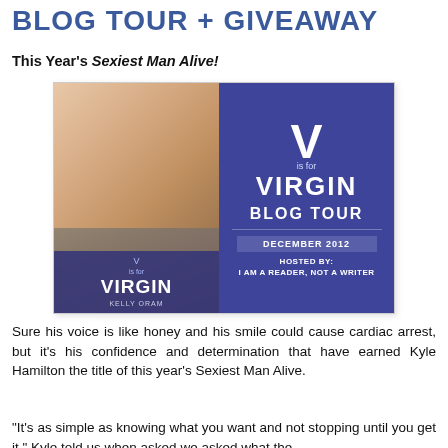BLOG TOUR + GIVEAWAY
This Year's Sexiest Man Alive!
[Figure (illustration): V is for Virgin Blog Tour promotional banner. Left half shows a book cover with a blonde woman touching her chin and wearing a V-shaped necklace, with the text 'V is for VIRGIN' and author name 'Kelly Oram'. Right half shows dark blue/purple background with large 'V is for VIRGIN BLOG TOUR' text, 'DECEMBER 2012', and 'HOSTED BY: I AM A READER, NOT A WRITER'.]
Sure his voice is like honey and his smile could cause cardiac arrest, but it's his confidence and determination that have earned Kyle Hamilton the title of this year's Sexiest Man Alive.
“It’s as simple as knowing what you want and not stopping until you get it,” Kyle told us when asked we asked what the